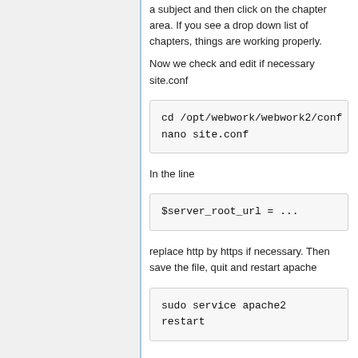a subject and then click on the chapter area. If you see a drop down list of chapters, things are working properly.
Now we check and edit if necessary site.conf
cd /opt/webwork/webwork2/conf
nano site.conf
In the line
$server_root_url = ...
replace http by https if necessary. Then save the file, quit and restart apache
sudo service apache2
restart